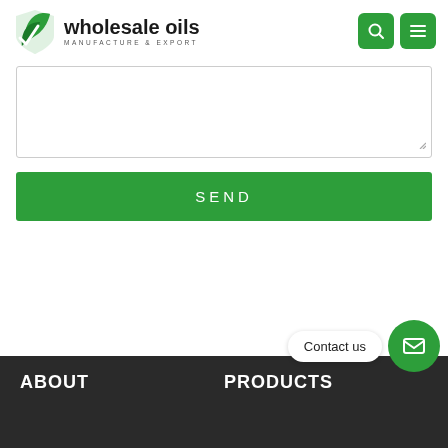[Figure (logo): Wholesale Oils logo with green leaf icon and text 'wholesale oils MANUFACTURE & EXPORT']
[Figure (screenshot): Textarea input field for form submission]
SEND
Contact us
ABOUT
PRODUCTS